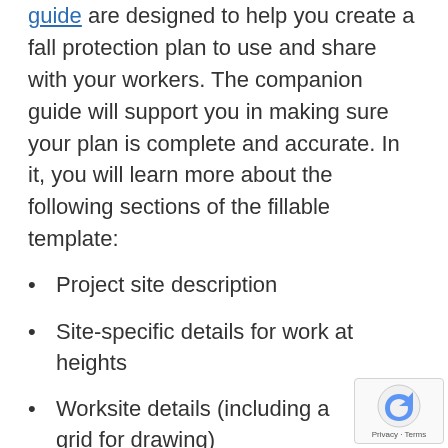guide are designed to help you create a fall protection plan to use and share with your workers. The companion guide will support you in making sure your plan is complete and accurate. In it, you will learn more about the following sections of the fillable template:
Project site description
Site-specific details for work at heights
Worksite details (including a grid for drawing)
Types of fall protection systems and procedures